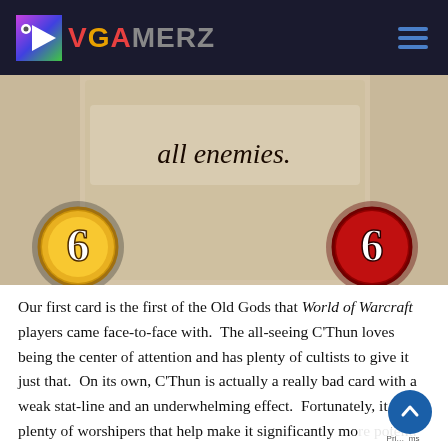VGAMERZ
[Figure (screenshot): Hearthstone card image showing 'all enemies.' text with attack value 6 on the left and health value 6 on the right, beige/tan card background]
Our first card is the first of the Old Gods that World of Warcraft players came face-to-face with.  The all-seeing C'Thun loves being the center of attention and has plenty of cultists to give it just that.  On its own, C'Thun is actually a really bad card with a weak stat-line and an underwhelming effect.  Fortunately, it has plenty of worshipers that help make it significantly more potent.  Cards like Beckoner of Evil and Twilight Elder will buff the